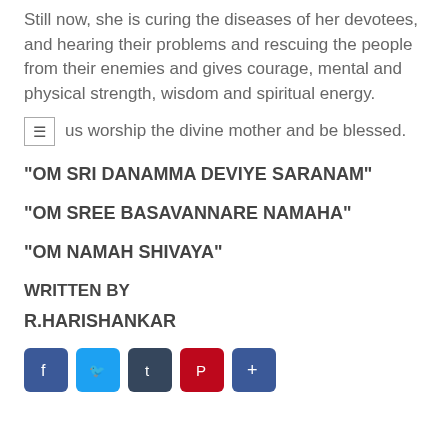Still now, she is curing the diseases of her devotees, and hearing their problems and rescuing the people from their enemies and gives courage, mental and physical strength, wisdom and spiritual energy.
us worship the divine mother and be blessed.
"OM SRI DANAMMA DEVIYE SARANAM"
"OM SREE BASAVANNARE NAMAHA"
"OM NAMAH SHIVAYA"
WRITTEN BY
R.HARISHANKAR
[Figure (other): Social media share icons: Facebook, Twitter, Tumblr, Pinterest, AddThis]